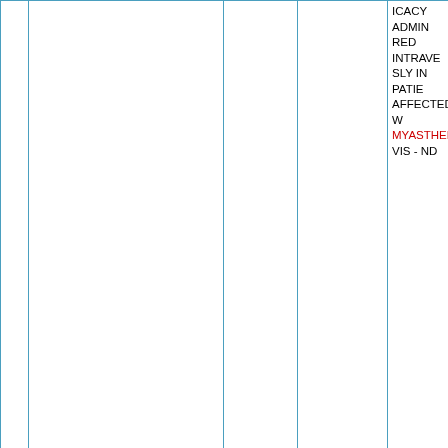| # | Trial ID | Date | Date | Description |
| --- | --- | --- | --- | --- |
|  |  |  |  | ICACY ADMINISTERED INTRAVENOUSLY IN PATIENTS AFFECTED WITH MYASTHENIA GRAVIS - ND |
| 78 | EUCTR2007-001377-28-FR | 11/06/2008 | 19 March 2012 | Phase IV, one single blood sampling study to investigate severe thrombocytopenia and immune disease in psoriasis subjects previously treated with RAPTIVA® (efalizumab) in the framework of the European an Observatio... |